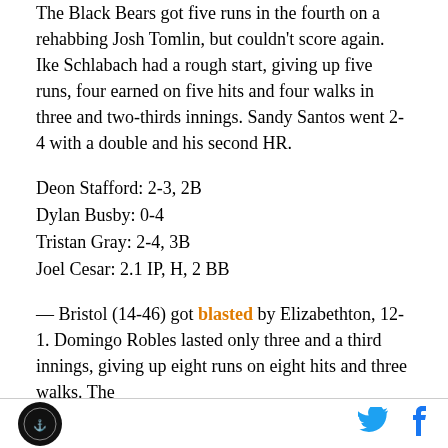The Black Bears got five runs in the fourth on a rehabbing Josh Tomlin, but couldn't score again. Ike Schlabach had a rough start, giving up five runs, four earned on five hits and four walks in three and two-thirds innings. Sandy Santos went 2-4 with a double and his second HR.
Deon Stafford: 2-3, 2B
Dylan Busby: 0-4
Tristan Gray: 2-4, 3B
Joel Cesar: 2.1 IP, H, 2 BB
— Bristol (14-46) got blasted by Elizabethton, 12-1. Domingo Robles lasted only three and a third innings, giving up eight runs on eight hits and three walks. The
[logo] [twitter] [facebook]